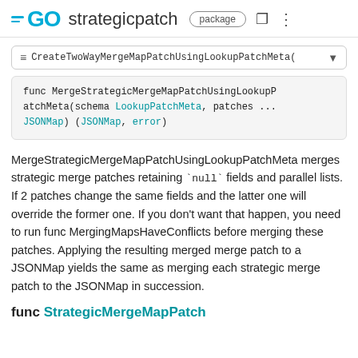GO strategicpatch package
≡ CreateTwoWayMergeMapPatchUsingLookupPatchMeta(
func MergeStrategicMergeMapPatchUsingLookupPatchMeta(schema LookupPatchMeta, patches ...JSONMap) (JSONMap, error)
MergeStrategicMergeMapPatchUsingLookupPatchMeta merges strategic merge patches retaining `null` fields and parallel lists. If 2 patches change the same fields and the latter one will override the former one. If you don't want that happen, you need to run func MergingMapsHaveConflicts before merging these patches. Applying the resulting merged merge patch to a JSONMap yields the same as merging each strategic merge patch to the JSONMap in succession.
func StrategicMergeMapPatch